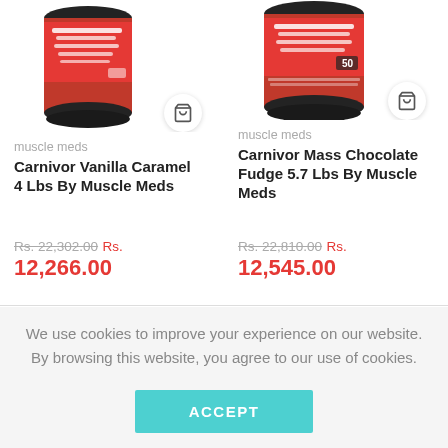[Figure (screenshot): Product image of a red supplement container (Carnivor Vanilla Caramel 4 Lbs by Muscle Meds), showing top portion, with a shopping cart icon button below]
[Figure (screenshot): Product image of a red supplement container (Carnivor Mass Chocolate Fudge 5.7 Lbs by Muscle Meds), showing top portion, with a shopping cart icon button below]
muscle meds
Carnivor Vanilla Caramel 4 Lbs By Muscle Meds
Rs. 22,302.00  Rs. 12,266.00
muscle meds
Carnivor Mass Chocolate Fudge 5.7 Lbs By Muscle Meds
Rs. 22,810.00  Rs. 12,545.00
We use cookies to improve your experience on our website. By browsing this website, you agree to our use of cookies.